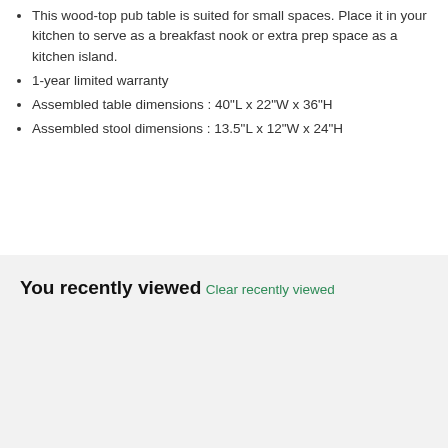This wood-top pub table is suited for small spaces. Place it in your kitchen to serve as a breakfast nook or extra prep space as a kitchen island.
1-year limited warranty
Assembled table dimensions : 40"L x 22"W x 36"H
Assembled stool dimensions : 13.5"L x 12"W x 24"H
You recently viewed
Clear recently viewed